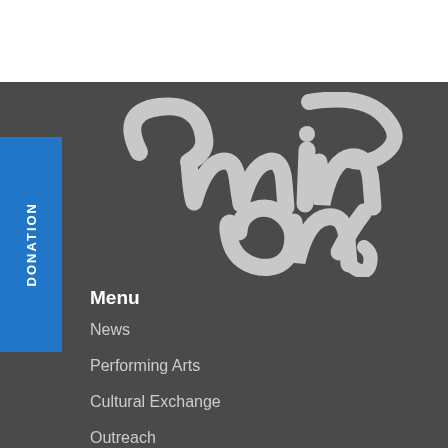[Figure (logo): Stylized cursive script logo reading 'min/on' in light gray on dark background]
DONATION
Menu
News
Performing Arts
Cultural Exchange
Outreach